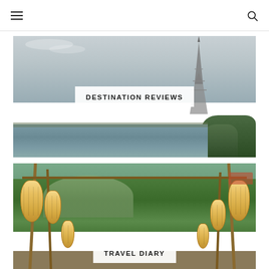Navigation menu and search icon
[Figure (photo): Paris cityscape with Eiffel Tower and Seine River, overcast sky, trees and bridges in background]
DESTINATION REVIEWS
[Figure (photo): Chinese garden or park entrance with yellow paper lanterns hanging on bamboo frame, lush green trees in background]
TRAVEL DIARY